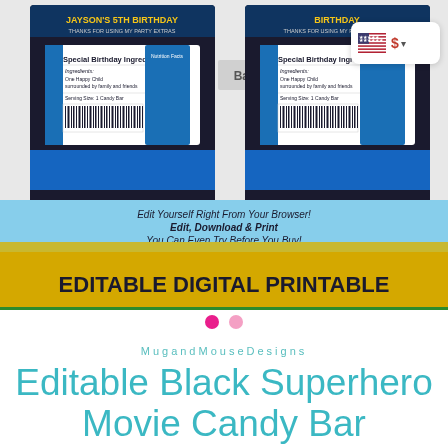[Figure (screenshot): Product listing image showing candy bar wrapper printables for a Black Superhero Movie birthday party. Shows front and back of wrappers with 'JAYSON'S 5TH BIRTHDAY' text, special birthday ingredients label, barcode, and an 'EDITABLE DIGITAL PRINTABLE' banner at the bottom with text 'Edit Yourself Right From Your Browser! Edit, Download & Print. You Can Even Try Before You Buy!']
MugandMouseDesigns
Editable Black Superhero Movie Candy Bar Wrappers Printable